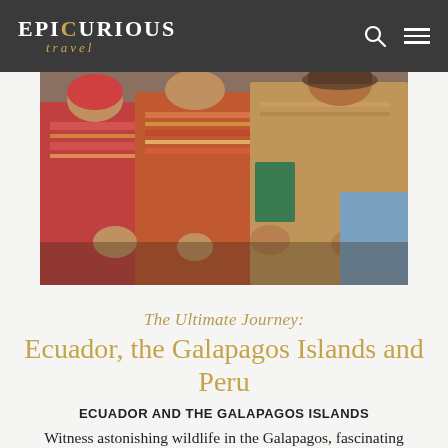EPIcURIOUS travel
[Figure (photo): Group of people in traditional Andean colorful woven ponchos and clothing, clapping or gesturing with their hands, photographed outdoors.]
The Ultimate Journey: Ecuador, the Galapagos Islands and Peru
ECUADOR AND THE GALAPAGOS ISLANDS
Witness astonishing wildlife in the Galapagos, fascinating Spanish colonial towns, the majesty of the Andes, volcanic scenery on the Andean